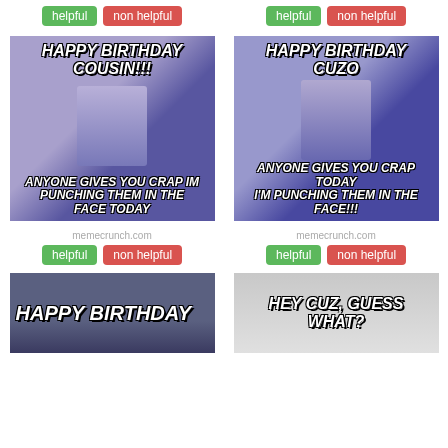[Figure (screenshot): Top row: two 'helpful' green and 'non helpful' red buttons side by side]
[Figure (photo): Meme 1: 'HAPPY BIRTHDAY COUSIN!!!' / baby fist pump / 'ANYONE GIVES YOU CRAP IM PUNCHING THEM IN THE FACE TODAY']
[Figure (photo): Meme 2: 'HAPPY BIRTHDAY CUZO' / baby fist pump / 'ANYONE GIVES YOU CRAP TODAY I'M PUNCHING THEM IN THE FACE!!!']
memecrunch.com
memecrunch.com
[Figure (screenshot): Second row: two 'helpful' green and 'non helpful' red button pairs]
[Figure (photo): Meme 3: 'HAPPY BIRTHDAY' dark background with man's face]
[Figure (photo): Meme 4: 'HEY CUZ, GUESS WHAT?' with baby/person face]